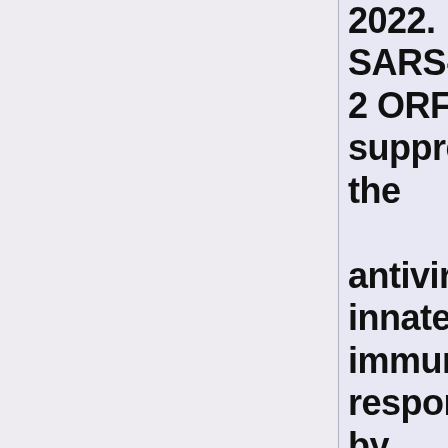2022. SARS-CoV-2 ORF10 suppresses the antiviral innate immune response by degrading MAVS